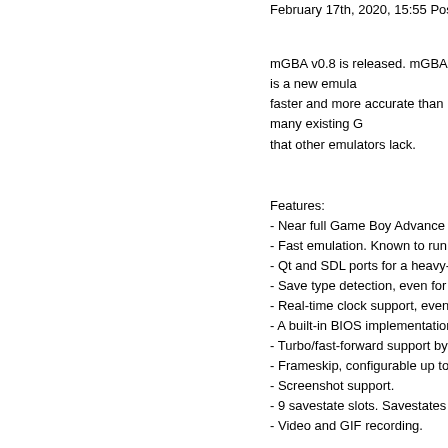February 17th, 2020, 15:55 Posted By: Wragg
mGBA v0.8 is released. mGBA is a new emula... faster and more accurate than many existing G... that other emulators lack.
Features:
- Near full Game Boy Advance hardware suppo
- Fast emulation. Known to run at full speed ev
- Qt and SDL ports for a heavy-weight and a lig
- Save type detection, even for flash memory s
- Real-time clock support, even without configu
- A built-in BIOS implementation, and ability to
- Turbo/fast-forward support by holding Tab.
- Frameskip, configurable up to 9.
- Screenshot support.
- 9 savestate slots. Savestates are also viewab
- Video and GIF recording.
- Remappable controls for both keyboards and
- Loading from ZIP files.
- IPS and UPS patch support.
- Game debugging via a command-line interfac
mGBA v0.8 Changelog:
Emulation fixes:
GB Serialize: Fix timing bug loading channel 4
GBA: Fix multiboot entry point while skipping B
GBA BIOS: Fix undefined instruction HLE beha
GBA DMA: Fix invalid audio DMA parameters